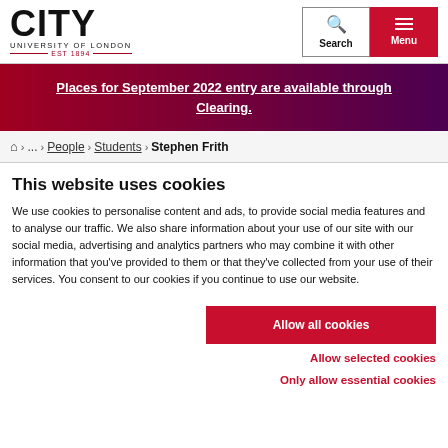CITY UNIVERSITY OF LONDON EST 1894 | Search | Menu
Places for September 2022 entry are available through Clearing.
Home > ... > People > Students > Stephen Frith
This website uses cookies
We use cookies to personalise content and ads, to provide social media features and to analyse our traffic. We also share information about your use of our site with our social media, advertising and analytics partners who may combine it with other information that you've provided to them or that they've collected from your use of their services. You consent to our cookies if you continue to use our website.
Allow all cookies
Allow selected cookies
Only allow essential cookies